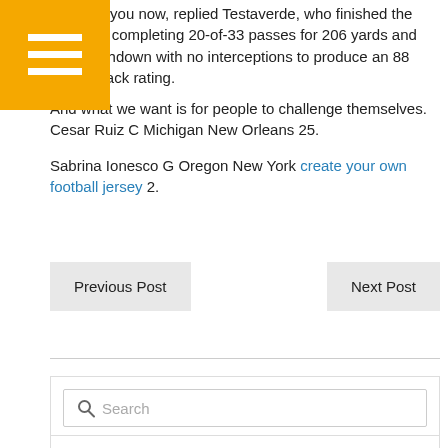[Figure (other): Yellow/orange menu hamburger icon button]
I believe you now, replied Testaverde, who finished the game by completing 20-of-33 passes for 206 yards and one touchdown with no interceptions to produce an 88 quarterback rating.
And what we want is for people to challenge themselves. Cesar Ruiz C Michigan New Orleans 25.
Sabrina Ionesco G Oregon New York create your own football jersey 2.
Previous Post
Next Post
Search
Partner
[Figure (logo): Bowtran logo with black background and red/white arrow, BOWTRAN text with registered trademark symbol]